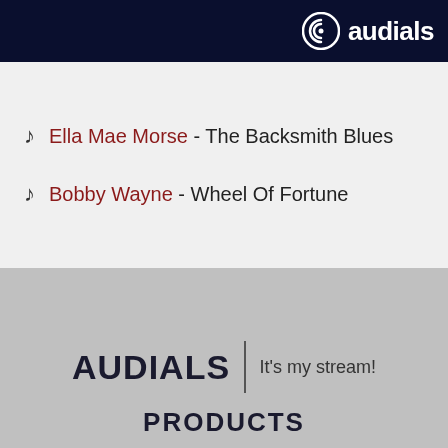[Figure (logo): Audials logo with circular icon and 'audials' text in white on dark navy background]
♪ Ella Mae Morse - The Backsmith Blues
♪ Bobby Wayne - Wheel Of Fortune
AUDIALS | It's my stream!
PRODUCTS